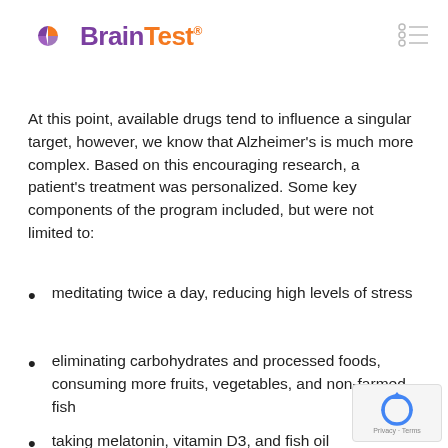BrainTest®
At this point, available drugs tend to influence a singular target, however, we know that Alzheimer's is much more complex. Based on this encouraging research, a patient's treatment was personalized. Some key components of the program included, but were not limited to:
meditating twice a day, reducing high levels of stress
eliminating carbohydrates and processed foods, consuming more fruits, vegetables, and non-farmed fish
taking melatonin, vitamin D3, and fish oil